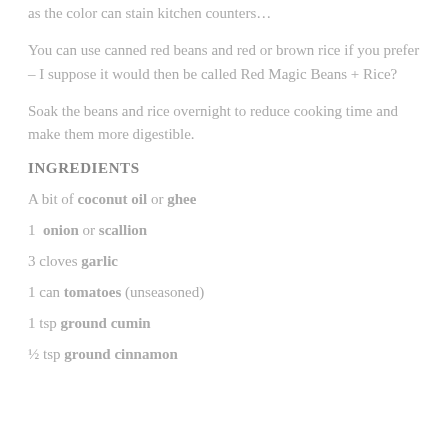as the color can stain kitchen counters…
You can use canned red beans and red or brown rice if you prefer – I suppose it would then be called Red Magic Beans + Rice?
Soak the beans and rice overnight to reduce cooking time and make them more digestible.
INGREDIENTS
A bit of coconut oil or ghee
1  onion or scallion
3 cloves garlic
1 can tomatoes (unseasoned)
1 tsp ground cumin
½ tsp ground cinnamon